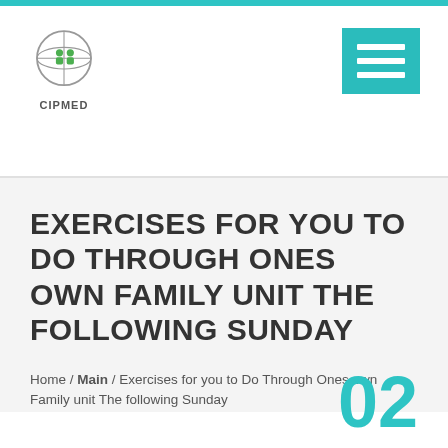CIPMED
EXERCISES FOR YOU TO DO THROUGH ONES OWN FAMILY UNIT THE FOLLOWING SUNDAY
Home / Main / Exercises for you to Do Through Ones own Family unit The following Sunday
02